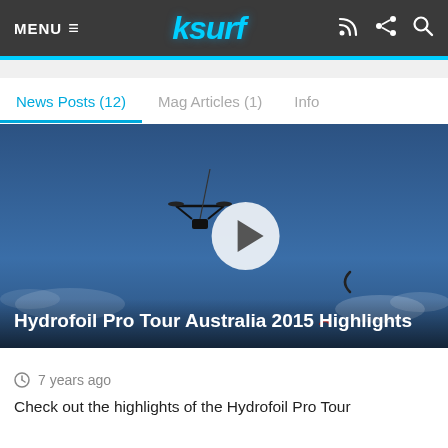MENU ≡   ksurf
News Posts (12)   Mag Articles (1)   Info
[Figure (screenshot): Video thumbnail showing a drone and kite in a blue sky with a play button overlay. Title text reads: Hydrofoil Pro Tour Australia 2015 Highlights]
7 years ago
Check out the highlights of the Hydrofoil Pro Tour